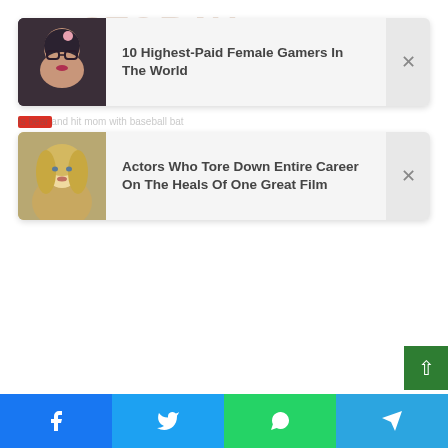[Figure (screenshot): Notification card with woman photo and title: 10 Highest-Paid Female Gamers In The World]
10 Highest-Paid Female Gamers In The World
[Figure (screenshot): Notification card with blonde woman photo and title: Actors Who Tore Down Entire Career On The Heals Of One Great Film]
Actors Who Tore Down Entire Career On The Heals Of One Great Film